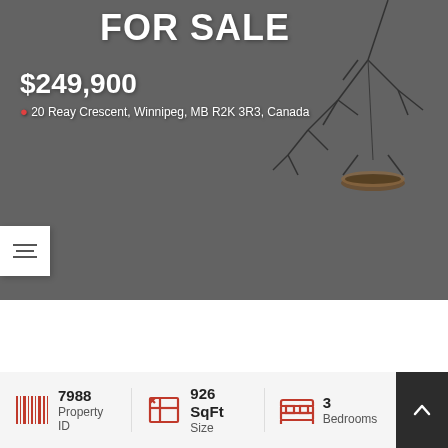[Figure (photo): Winter outdoor photo of a property with snow-covered ground and bare tree branches with a hanging bird feeder, gray sky background. Overlaid with 'FOR SALE' text, price, and address.]
FOR SALE
$249,900
20 Reay Crescent, Winnipeg, MB R2K 3R3, Canada
7988 Property ID
926 SqFt Size
3 Bedrooms